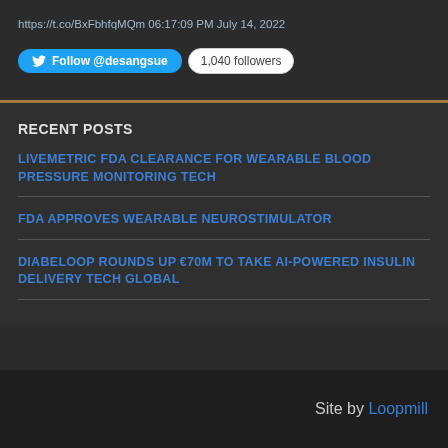https://t.co/BxFbhfqMQm 06:17:09 PM July 14, 2022
[Figure (other): Twitter Follow button for @desangsue with 1,040 followers badge]
RECENT POSTS
LIVEMETRIC FDA CLEARANCE FOR WEARABLE BLOOD PRESSURE MONITORING TECH
FDA APPROVES WEARABLE NEUROSTIMULATOR
DIABELOOP ROUNDS UP €70M TO TAKE AI-POWERED INSULIN DELIVERY TECH GLOBAL
Site by Loopmill